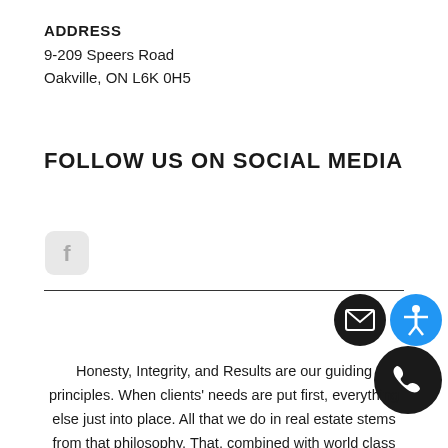ADDRESS
9-209 Speers Road
Oakville, ON L6K 0H5
FOLLOW US ON SOCIAL MEDIA
[Figure (illustration): Facebook social media icon (rounded square, light gray)]
[Figure (illustration): Email icon button (black circle with envelope), Accessibility icon button (blue circle with person), Phone icon button (black circle with phone handset)]
Honesty, Integrity, and Results are our guiding principles. When clients' needs are put first, everything else just falls into place. All that we do in real estate stems from that philosophy. That, combined with world class marketing, in-depth market intelligence and negotiation savvy, is our